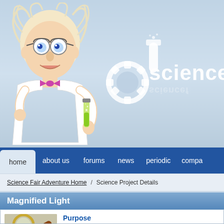[Figure (illustration): Cartoon scientist with wild white hair, glasses, bow tie, holding a test tube with green liquid]
[Figure (logo): ScienceFair website logo with gear, test tube icon and text 'sciencef' in white on blue gradient background]
home  about us  forums  news  periodic  compa...
Science Fair Adventure Home / Science Project Details
Magnified Light
[Figure (photo): Magnifying glass with wooden handle on light surface]
Purpose
To demonstrate how sunlight can be intensified concentrating energy to melt an ice cube.